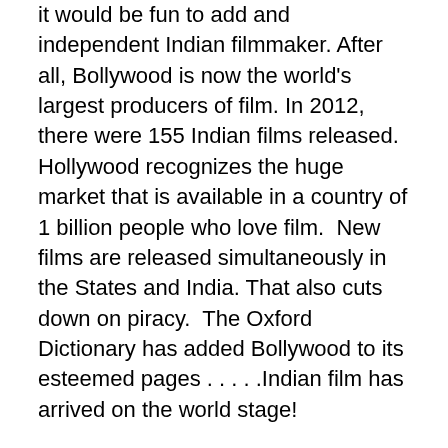it would be fun to add and independent Indian filmmaker. After all, Bollywood is now the world's largest producers of film. In 2012, there were 155 Indian films released. Hollywood recognizes the huge market that is available in a country of 1 billion people who love film.  New films are released simultaneously in the States and India. That also cuts down on piracy.  The Oxford Dictionary has added Bollywood to its esteemed pages . . . . .Indian film has arrived on the world stage!
Chandresh, at the young age of 35 is on his second career. As a teenager he loved to read and enjoyed the arts. But when time came for college, he chose the secure major of  chemistry, thinking of a stable and lucrative position after finishing his education. After four months working for a pharmaceutical company, he realized that he just couldn't do this work every day for the rest of his life.